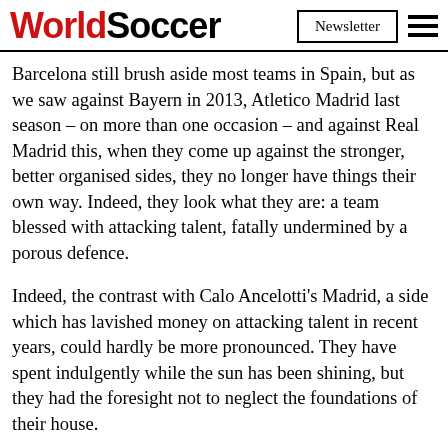WorldSoccer | Newsletter
Barcelona still brush aside most teams in Spain, but as we saw against Bayern in 2013, Atletico Madrid last season – on more than one occasion – and against Real Madrid this, when they come up against the stronger, better organised sides, they no longer have things their own way. Indeed, they look what they are: a team blessed with attacking talent, fatally undermined by a porous defence.
Indeed, the contrast with Calo Ancelotti's Madrid, a side which has lavished money on attacking talent in recent years, could hardly be more pronounced. They have spent indulgently while the sun has been shining, but they had the foresight not to neglect the foundations of their house.
Barcelona, meanwhile, believing they had discovered the elixir fo... out essentia... impress... ns of